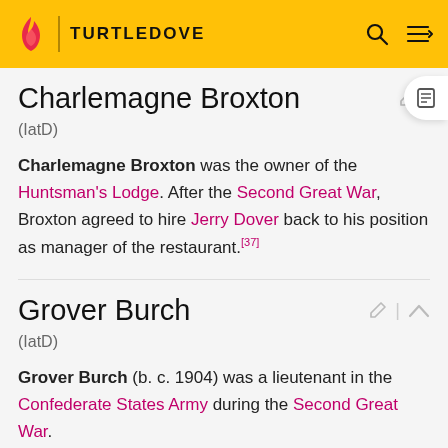TURTLEDOVE
Charlemagne Broxton
(IatD)
Charlemagne Broxton was the owner of the Huntsman's Lodge. After the Second Great War, Broxton agreed to hire Jerry Dover back to his position as manager of the restaurant.[37]
Grover Burch
(IatD)
Grover Burch (b. c. 1904) was a lieutenant in the Confederate States Army during the Second Great War.